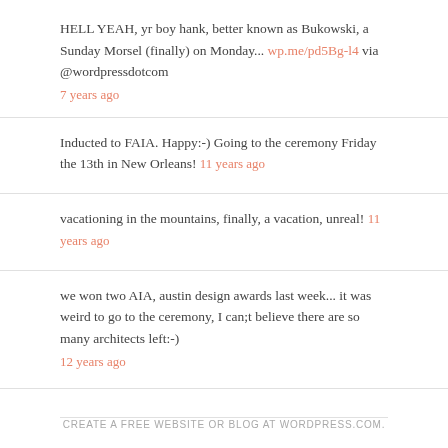HELL YEAH, yr boy hank, better known as Bukowski, a Sunday Morsel (finally) on Monday... wp.me/pd5Bg-l4 via @wordpressdotcom
7 years ago
Inducted to FAIA. Happy:-) Going to the ceremony Friday the 13th in New Orleans! 11 years ago
vacationing in the mountains, finally, a vacation, unreal! 11 years ago
we won two AIA, austin design awards last week... it was weird to go to the ceremony, I can;t believe there are so many architects left:-)
12 years ago
CREATE A FREE WEBSITE OR BLOG AT WORDPRESS.COM.